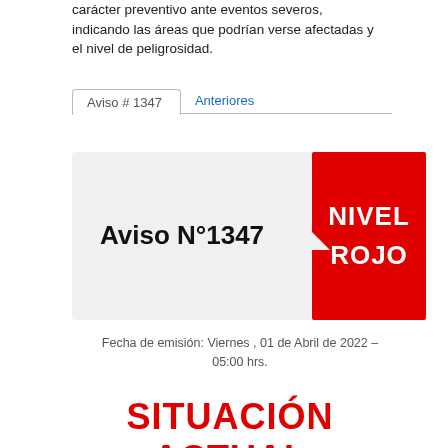carácter preventivo ante eventos severos, indicando las áreas que podrían verse afectadas y el nivel de peligrosidad.
Aviso # 1347   Anteriores
Aviso N°1347   NIVEL ROJO
Fecha de emisión: Viernes , 01 de Abril de 2022 – 05:00 hrs.
SITUACIÓN ACTUAL